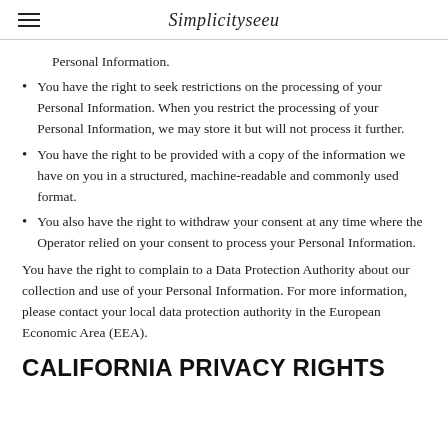Simplicityseeu
Personal Information.
You have the right to seek restrictions on the processing of your Personal Information. When you restrict the processing of your Personal Information, we may store it but will not process it further.
You have the right to be provided with a copy of the information we have on you in a structured, machine-readable and commonly used format.
You also have the right to withdraw your consent at any time where the Operator relied on your consent to process your Personal Information.
You have the right to complain to a Data Protection Authority about our collection and use of your Personal Information. For more information, please contact your local data protection authority in the European Economic Area (EEA).
CALIFORNIA PRIVACY RIGHTS